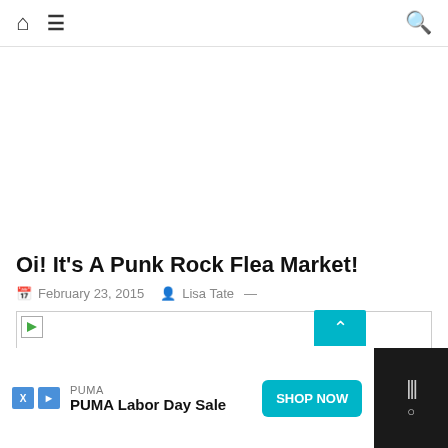Navigation bar with home icon, menu icon, and search icon
Oi! It's A Punk Rock Flea Market!
February 23, 2015  Lisa Tate —
[Figure (photo): Broken/missing image placeholder with small green arrow icon and border]
PUMA PUMA Labor Day Sale SHOP NOW